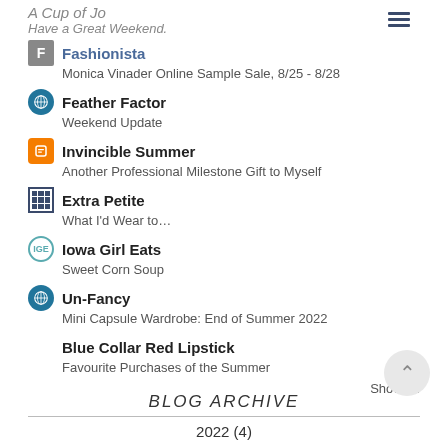A Cup of Jo — Have a Great Weekend.
Fashionista — Monica Vinader Online Sample Sale, 8/25 - 8/28
Feather Factor — Weekend Update
Invincible Summer — Another Professional Milestone Gift to Myself
Extra Petite — What I'd Wear to…
Iowa Girl Eats — Sweet Corn Soup
Un-Fancy — Mini Capsule Wardrobe: End of Summer 2022
Blue Collar Red Lipstick — Favourite Purchases of the Summer
Show All
BLOG ARCHIVE
2022 (4)